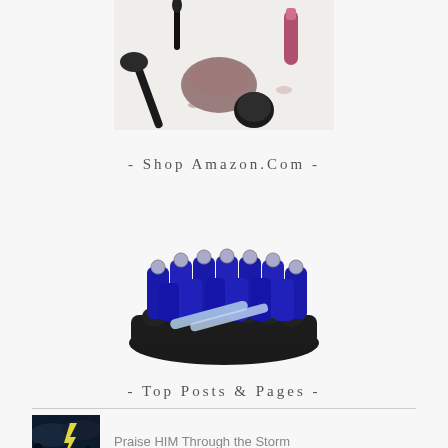[Figure (photo): Top portion of a cosmetics flatlay photo showing makeup brushes, powder, lip gloss, and eyeshadow on a white background]
- Shop Amazon.com -
[Figure (photo): Product photo of blue glass roller bottle set in a black organizer tray with two glass droppers]
- Top Posts & Pages -
[Figure (photo): Small thumbnail image of a lightning storm with dark sky]
Praise HIM Through the Storm